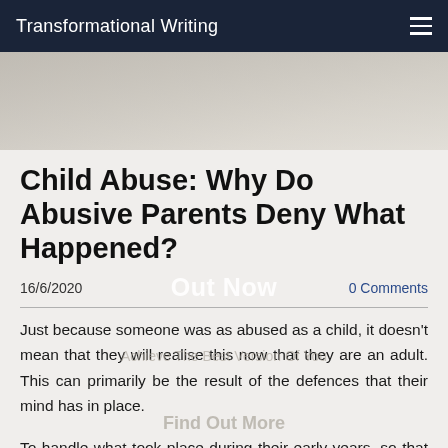Transformational Writing
Child Abuse: Why Do Abusive Parents Deny What Happened?
16/6/2020    Out Now    0 Comments
Just because someone was as abused as a child, it doesn't mean that they will realise this now that they are an adult. This can primarily be the result of the defences that their mind has in place.
To handle what took place during their early years, so that their life didn't come to an end, their mind would have utilised a number of different defence mechanisms. This